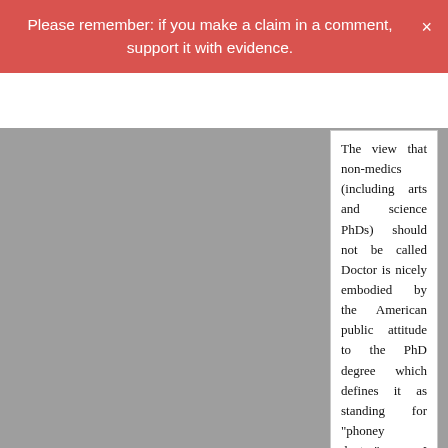Please remember: if you make a claim in a comment, support it with evidence.
The view that non-medics (including arts and science PhDs) should not be called Doctor is nicely embodied by the American public attitude to the PhD degree which defines it as standing for “phoney doctor”. I suspect that's the thinking behind Pete Atkins’s mistaken comment.
Reply
Björn Geir on Tuesday 06 January 2015 at 14:26
This website uses necessary cookies to make it work and to remember your preferences. Click on 'Cookie settings' to control your consent for other cookies or click on 'Accept all' to consent to the use of all cookies. By continuing to browse this website you are agreeing to our Privacy policy.
Accept all
Cookie settings
Privacy policy